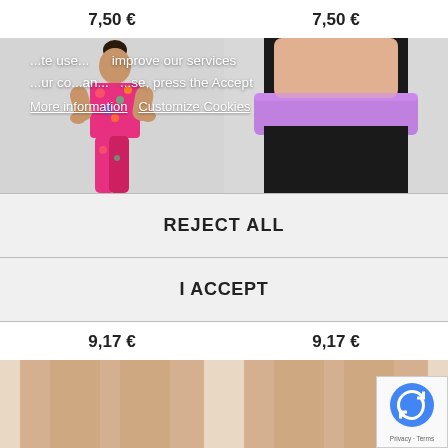7,50 €   7,50 €
[Figure (photo): Girl in colorful floral dancewear top, viewed from behind]
[Figure (photo): Black yoga/dance leggings with purple waistband]
...te use... improve our services
...ur co...and...se, press the Accept
More information   Customize Cookies
REJECT ALL
I ACCEPT
9,17 €   9,17 €
[Figure (photo): Bottom portion of dancewear product image]
[Figure (photo): Bottom portion of dancewear product image]
[Figure (logo): Google reCAPTCHA badge with Privacy and Terms links]